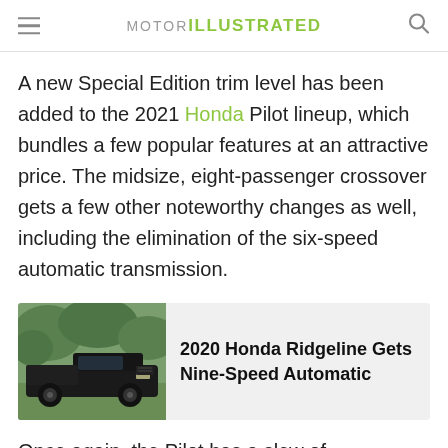MOTOR ILLUSTRATED
A new Special Edition trim level has been added to the 2021 Honda Pilot lineup, which bundles a few popular features at an attractive price. The midsize, eight-passenger crossover gets a few other noteworthy changes as well, including the elimination of the six-speed automatic transmission.
[Figure (photo): Dark colored Honda Ridgeline truck parked outdoors with trees in background]
2020 Honda Ridgeline Gets Nine-Speed Automatic
Once again, the Pilot has a slew of competitors to